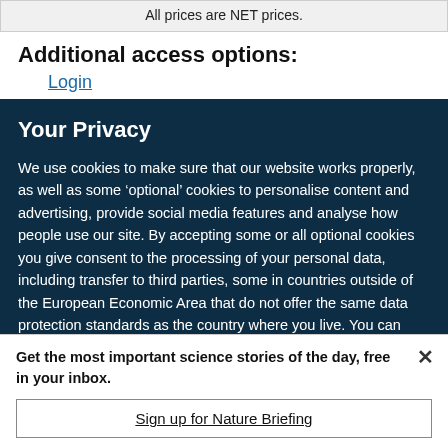All prices are NET prices.
Additional access options:
Login
Your Privacy
We use cookies to make sure that our website works properly, as well as some ‘optional’ cookies to personalise content and advertising, provide social media features and analyse how people use our site. By accepting some or all optional cookies you give consent to the processing of your personal data, including transfer to third parties, some in countries outside of the European Economic Area that do not offer the same data protection standards as the country where you live. You can decide which optional cookies to accept by clicking on ‘Manage Settings’, where you can
Get the most important science stories of the day, free in your inbox.
Sign up for Nature Briefing